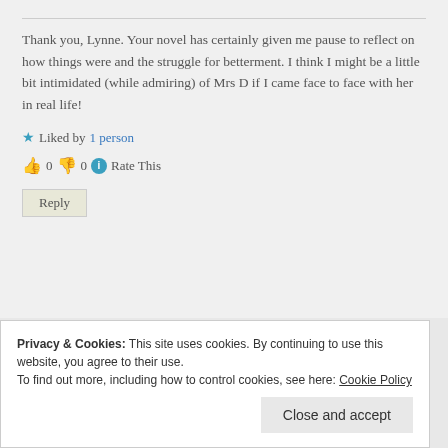Thank you, Lynne. Your novel has certainly given me pause to reflect on how things were and the struggle for betterment. I think I might be a little bit intimidated (while admiring) of Mrs D if I came face to face with her in real life!
★ Liked by 1 person
👍 0 👎 0 ℹ Rate This
Reply
Privacy & Cookies: This site uses cookies. By continuing to use this website, you agree to their use.
To find out more, including how to control cookies, see here: Cookie Policy
Close and accept